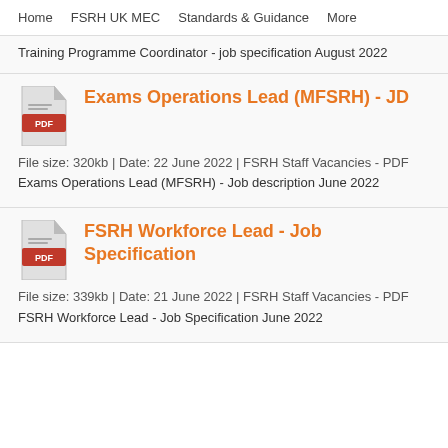Home    FSRH UK MEC    Standards & Guidance    More
Training Programme Coordinator - job specification August 2022
Exams Operations Lead (MFSRH) - JD
File size: 320kb | Date: 22 June 2022 | FSRH Staff Vacancies - PDF
Exams Operations Lead (MFSRH) - Job description June 2022
FSRH Workforce Lead - Job Specification
File size: 339kb | Date: 21 June 2022 | FSRH Staff Vacancies - PDF
FSRH Workforce Lead - Job Specification June 2022